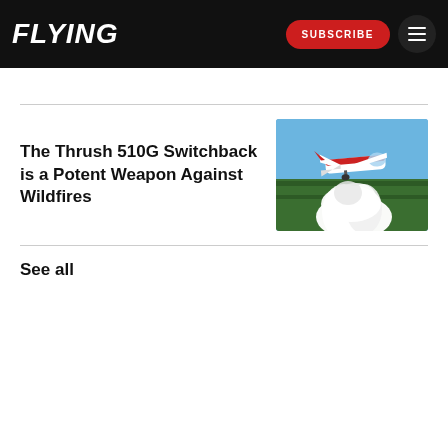FLYING | SUBSCRIBE | Menu
The Thrush 510G Switchback is a Potent Weapon Against Wildfires
[Figure (photo): A red and white Thrush 510G Switchback aircraft dropping a large white retardant or water cloud over a green forest landscape, photographed from an aerial perspective.]
See all